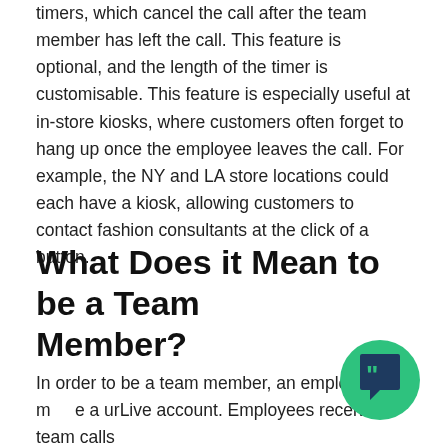timers, which cancel the call after the team member has left the call. This feature is optional, and the length of the timer is customisable. This feature is especially useful at in-store kiosks, where customers often forget to hang up once the employee leaves the call. For example, the NY and LA store locations could each have a kiosk, allowing customers to contact fashion consultants at the click of a button.
What Does it Mean to be a Team Member?
In order to be a team member, an employee must have a urLive account. Employees receive team calls through...
[Figure (logo): urLive logo: green circle with a white speech bubble icon containing a quotation mark]